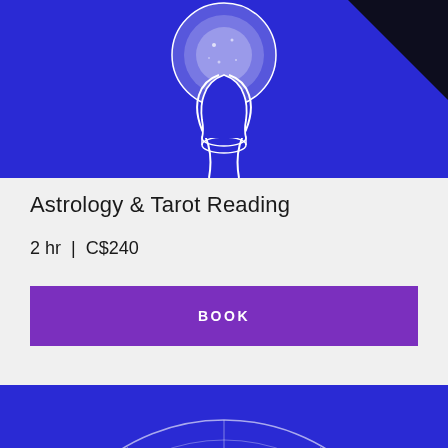[Figure (illustration): Blue background card with a crystal ball illustration showing a hand holding a glowing orb, with a dark triangular corner top-right]
Astrology & Tarot Reading
2 hr  |  C$240
BOOK
[Figure (illustration): Blue background with a detailed astrological zodiac wheel showing all 12 zodiac signs with constellation patterns and symbols, crescent moon in the center]